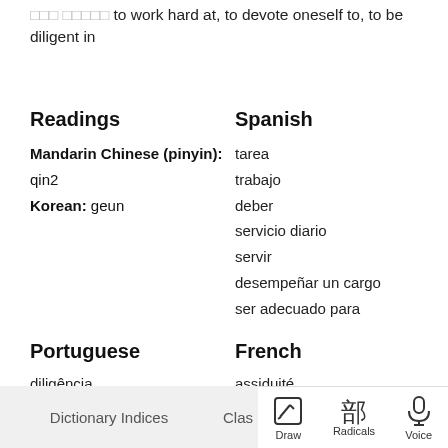… … to work hard at, to devote oneself to, to be diligent in
Readings
Mandarin Chinese (pinyin): qin2
Korean: geun
Spanish
tarea
trabajo
deber
servicio diario
servir
desempeñar un cargo
ser adecuado para
Portuguese
diligência
tornar-se empregado
servir
French
assiduité
application
travailler
être employé
Dictionary Indices   Clas…   Draw   Radicals   Voice